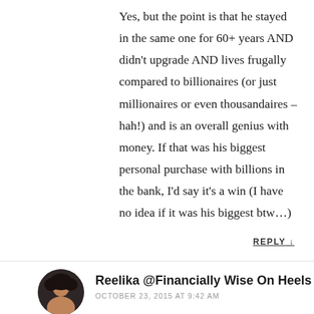Yes, but the point is that he stayed in the same one for 60+ years AND didn't upgrade AND lives frugally compared to billionaires (or just millionaires or even thousandaires – hah!) and is an overall genius with money. If that was his biggest personal purchase with billions in the bank, I'd say it's a win (I have no idea if it was his biggest btw…)
REPLY ↓
Reelika @Financially Wise On Heels
OCTOBER 23, 2015 AT 9:42 AM
We should not compare our financial situations and wins with others, but we still do. We should